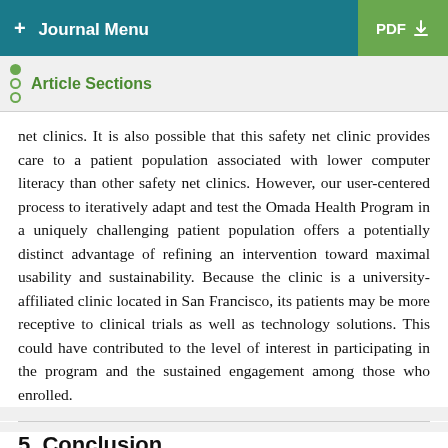+ Journal Menu  PDF ↓
Article Sections
net clinics. It is also possible that this safety net clinic provides care to a patient population associated with lower computer literacy than other safety net clinics. However, our user-centered process to iteratively adapt and test the Omada Health Program in a uniquely challenging patient population offers a potentially distinct advantage of refining an intervention toward maximal usability and sustainability. Because the clinic is a university-affiliated clinic located in San Francisco, its patients may be more receptive to clinical trials as well as technology solutions. This could have contributed to the level of interest in participating in the program and the sustained engagement among those who enrolled.
5. Conclusion
We documented patient interest, engagement, and satisfaction with a digital health diabetes prevention program among both